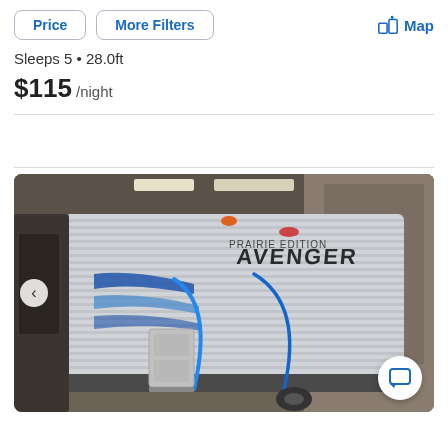Price | More Filters | Map
Sleeps 5 • 28.0ft
$115 /night
[Figure (photo): Exterior photo of a Prairie Edition Avenger travel trailer RV, silver and white with blue stripe graphics, parked inside a building/warehouse. The front/side of the trailer is visible with 'AVENGER' branding on the side.]